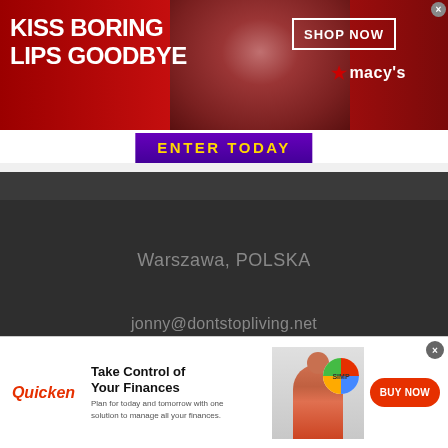[Figure (advertisement): Macy's lipstick advertisement banner with text 'KISS BORING LIPS GOODBYE', model with red lips in center, 'SHOP NOW' button and Macy's star logo on right side]
[Figure (advertisement): Purple 'ENTER TODAY' sweepstakes button banner]
Warszawa, POLSKA
jonny@dontstopliving.net
[Figure (infographic): Social media icons: Facebook (f), Twitter bird, LinkedIn (in), Instagram camera outline]
[Figure (advertisement): Quicken financial software advertisement with 'Take Control of Your Finances' headline, woman at laptop with pie chart graphic, and BUY NOW button. Close X button at top right.]